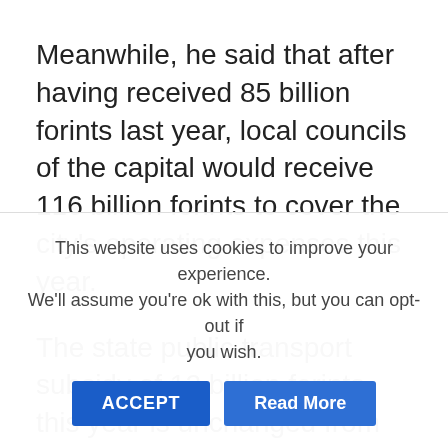Meanwhile, he said that after having received 85 billion forints last year, local councils of the capital would receive 116 billion forints to cover the city's operating expenses this year.
The state public transport subsidy of 12 billion forints this year is unchanged from the previous year, he added.
Also, the government is funding various upgrade projects, including the ongoing renovation of Metro
This website uses cookies to improve your experience. We'll assume you're ok with this, but you can opt-out if you wish.